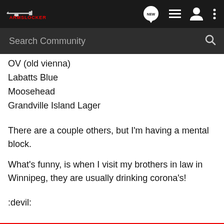[Figure (screenshot): ArmsLocker community forum navigation bar with logo, NEW button, list icon, user icon, and more icon]
[Figure (screenshot): Search Community search bar with magnifying glass icon]
OV (old vienna)
Labatts Blue
Moosehead
Grandville Island Lager
There are a couple others, but I'm having a mental block.
What's funny, is when I visit my brothers in law in Winnipeg, they are usually drinking corona's!
:devil: